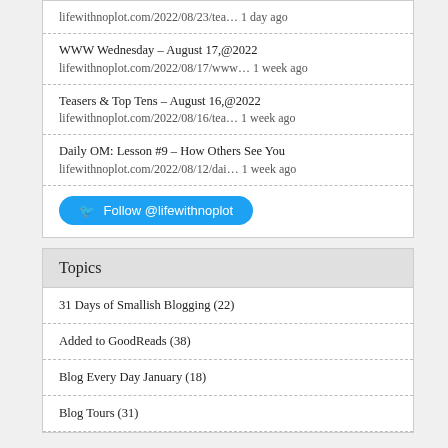lifewithnoplot.com/2022/08/23/tea… 1 day ago
WWW Wednesday – August 17, @2022
lifewithnoplot.com/2022/08/17/www… 1 week ago
Teasers & Top Tens – August 16, @2022
lifewithnoplot.com/2022/08/16/tea… 1 week ago
Daily OM: Lesson #9 – How Others See You
lifewithnoplot.com/2022/08/12/dai… 1 week ago
Follow @lifewithnoplot
Topics
31 Days of Smallish Blogging (22)
Added to GoodReads (38)
Blog Every Day January (18)
Blog Tours (31)